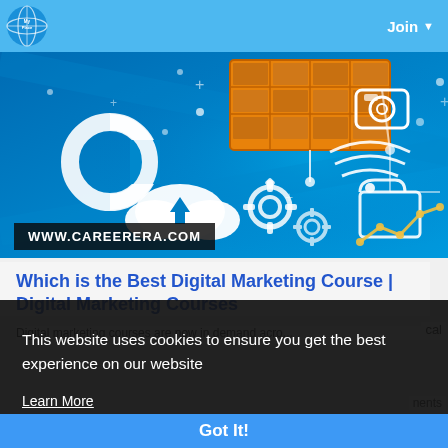Join ▾
[Figure (illustration): Digital marketing technology themed banner illustration with solar panel, camera, wifi, cloud, gears, folder icons on blue gradient background. WWW.CAREERERA.COM watermark.]
Which is the Best Digital Marketing Course | Digital Marketing Courses
Digital marketing courses are now in demand acro... ...cal
This website uses cookies to ensure you get the best experience on our website
Learn More
Got It!